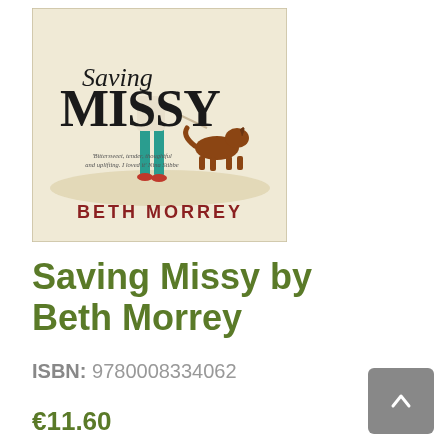[Figure (illustration): Book cover of 'Saving Missy' by Beth Morrey. Cream/beige background with illustrated woman in teal trousers and red shoes walking a brown dog. Large decorative script title 'Saving MISSY' in black. Tagline: 'Bittersweet, tender, thoughtful and uplifting. I loved it' Nina Stibbe. Author name BETH MORREY in dark red at bottom.]
Saving Missy by Beth Morrey
ISBN: 9780008334062
€11.60